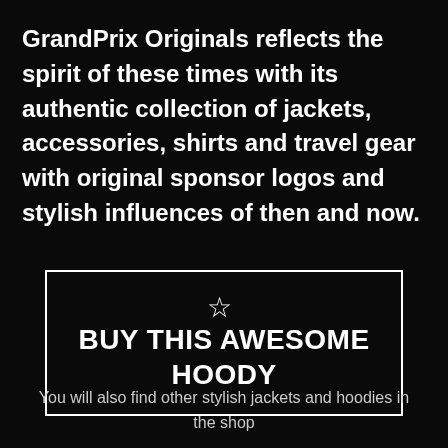GrandPrix Originals reflects the spirit of these times with its authentic collection of jackets, accessories, shirts and travel gear with original sponsor logos and stylish influences of then and now.
[Figure (other): A rectangular button with white border on black background containing a star icon and bold text reading 'BUY THIS AWESOME HOODY']
You will also find other stylish jackets and hoodies in the shop